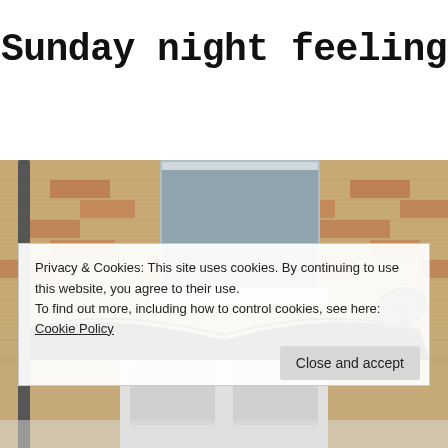Sunday night feeling
[Figure (photo): Photo of the front of a brick terraced house showing a bay window with white frame and roller blind, a black curved bay roof overhang, a satellite dish on the right, a drainpipe on the left, and a white front door partially visible at the bottom.]
Privacy & Cookies: This site uses cookies. By continuing to use this website, you agree to their use.
To find out more, including how to control cookies, see here: Cookie Policy
Close and accept